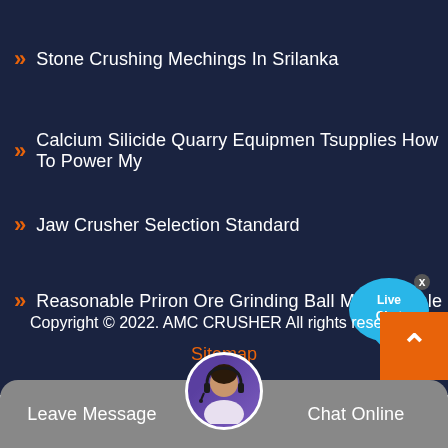Stone Crushing Mechings In Srilanka
Calcium Silicide Quarry Equipmen Tsupplies How To Power My
Jaw Crusher Selection Standard
Reasonable Priron Ore Grinding Ball Mill For Sale
[Figure (illustration): Live Chat speech bubble icon with 'Live Chat' text in white, blue bubble shape, with a close X button]
Copyright © 2022. AMC CRUSHER All rights reserved.
Sitemap
[Figure (illustration): Orange scroll-to-top button with upward chevron arrow]
[Figure (photo): Customer service agent with headset, circular portrait photo]
Leave Message
Chat Online